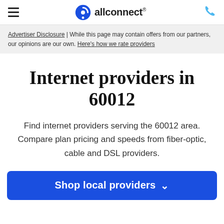allconnect®
Advertiser Disclosure | While this page may contain offers from our partners, our opinions are our own. Here's how we rate providers
Internet providers in 60012
Find internet providers serving the 60012 area. Compare plan pricing and speeds from fiber-optic, cable and DSL providers.
Shop local providers